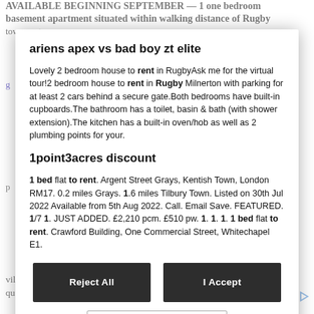AVAILABLE BEGINNING SEPTEMBER — 1 one bedroom basement apartment situated within walking distance of Rugby town centre.
ariens apex vs bad boy zt elite
Lovely 2 bedroom house to rent in RugbyAsk me for the virtual tour!2 bedroom house to rent in Rugby Milnerton with parking for at least 2 cars behind a secure gate.Both bedrooms have built-in cupboards.The bathroom has a toilet, basin & bath (with shower extension).The kitchen has a built-in oven/hob as well as 2 plumbing points for your.
1point3acres discount
1 bed flat to rent. Argent Street Grays, Kentish Town, London RM17. 0.2 miles Grays. 1.6 miles Tilbury Town. Listed on 30th Jul 2022 Available from 5th Aug 2022. Call. Email Save. FEATURED. 1/7 1. JUST ADDED. £2,210 pcm. £510 pw. 1. 1. 1. 1 bed flat to rent. Crawford Building, One Commercial Street, Whitechapel E1.
village amenities of Honley. A well presented property with good quality kitchen, bathroom and carpe. Find one bedroom to rent
[Figure (screenshot): Cookie consent modal with two dark buttons 'Reject All' and 'I Accept', and a lighter 'More Options' button below.]